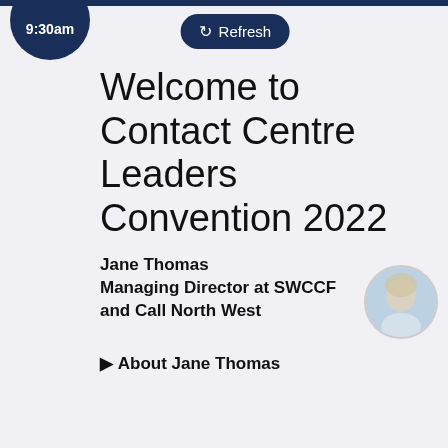9:30am
[Figure (screenshot): Refresh button with circular arrow icon]
Welcome to Contact Centre Leaders Convention 2022
Jane Thomas
Managing Director at SWCCF and Call North West
[Figure (photo): Circular portrait photo of Jane Thomas, a woman with blonde hair]
▶ About Jane Thomas